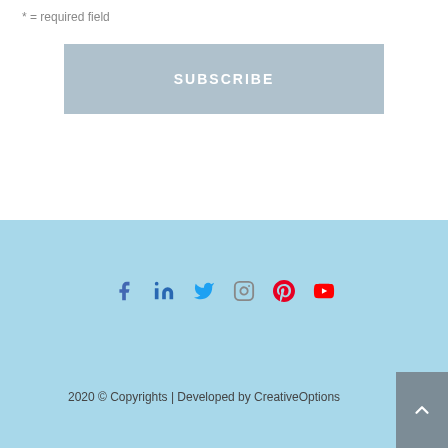* = required field
SUBSCRIBE
[Figure (other): Social media icons row: Facebook, LinkedIn, Twitter, Instagram, Pinterest, YouTube]
2020 © Copyrights | Developed by CreativeOptions